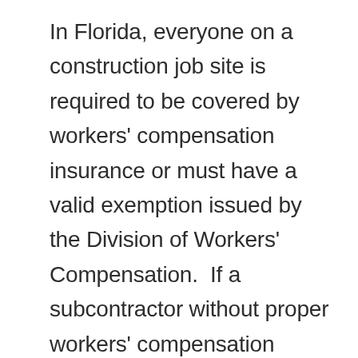In Florida, everyone on a construction job site is required to be covered by workers' compensation insurance or must have a valid exemption issued by the Division of Workers' Compensation.  If a subcontractor without proper workers' compensation insurance for all his/her employees comes onto a job site, and one of the sub's employees gets hurt, the responsibility for that injury falls on the contractor who hired the sub; the